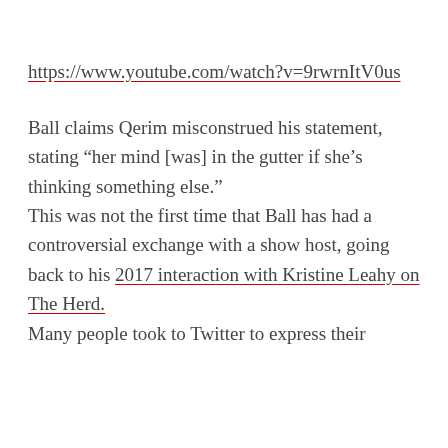https://www.youtube.com/watch?v=9rwrnItV0us
Ball claims Qerim misconstrued his statement, stating “her mind [was] in the gutter if she’s thinking something else.” This was not the first time that Ball has had a controversial exchange with a show host, going back to his 2017 interaction with Kristine Leahy on The Herd. Many people took to Twitter to express their